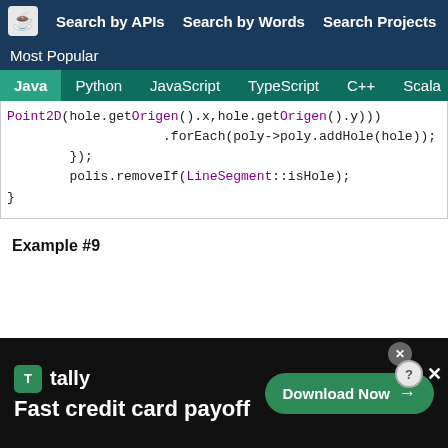Search by APIs   Search by Words   Search Projects
Most Popular
Java   Python   JavaScript   TypeScript   C++   Scala
Point2D(hole.getOrigen().x,hole.getOrigen().y)))
                    .forEach(poly->poly.addHole(hole));
        });
        polis.removeIf(LineSegment::isHole);
}
Example #9
[Figure (screenshot): Advertisement banner for Tally app: 'Fast credit card payoff' with Download Now button]